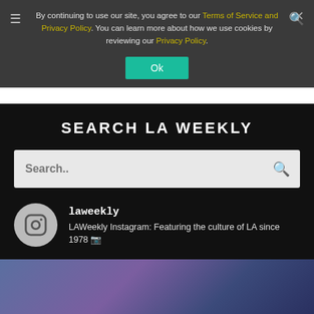By continuing to use our site, you agree to our Terms of Service and Privacy Policy. You can learn more about how we use cookies by reviewing our Privacy Policy.
Ok
SEARCH LA WEEKLY
Search..
laweekly
LAWeekly Instagram: Featuring the culture of LA since 1978 📷
[Figure (photo): A purple-blue gradient photo strip at the bottom of the page, partially visible]